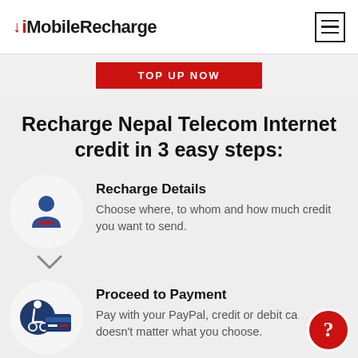MobileRecharge
[Figure (screenshot): Red TOP UP NOW button partially visible at top]
Recharge Nepal Telecom Internet credit in 3 easy steps:
[Figure (illustration): Person/user icon inside a light grey circle for step 1]
Recharge Details
Choose where, to whom and how much credit you want to send.
[Figure (illustration): Wheelchair/payment icon inside a navy circle for step 2]
Proceed to Payment
Pay with your PayPal, credit or debit ca... doesn't matter what you choose.